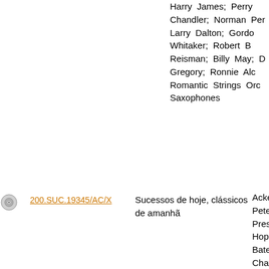Harry James; Perry Chandler; Norman Pe... Larry Dalton; Gordo... Whitaker; Robert B... Reisman; Billy May; D... Gregory; Ronnie Alc... Romantic Strings Orc... Saxophones
200.SUC.19345/AC/X
Sucessos de hoje, clássicos de amanhã
Acker Bilk; Francis G... Pete Moore; Gordon... Preston; Christian C... Hope; Billy Vaughn; ... Bateman; Ian Hugh... Chatelain; Chet Atkins... Whitaker; Steve Gray;... Bilk; The Romantic ... Pierre Belmonde; Orq... Pete Moore; Orquestra... de Henry Mancini; Orc... de Christian Colombi... Orquestra de Peter Ho... London Symphony ... Firman; Orquestra de... Bateman; Orquestra... Francis Moore; Na... Orquestra de Dominic... Mullins; Orquestra de... Whitaker; Orquestra d...